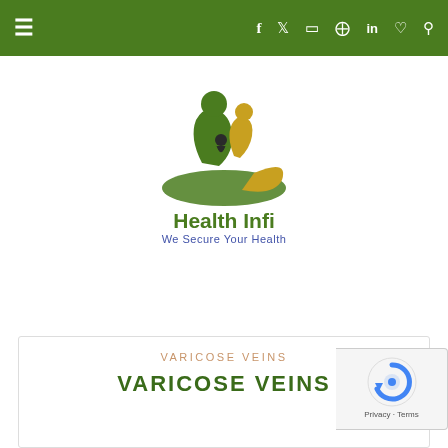≡  f  t  ☷  ⊕  in  ♥  🔍
[Figure (logo): Health Infi logo — green and gold stylized figures of adults and child with hands, above the text 'Health Infi' in green and tagline 'We Secure Your Health' in blue]
VARICOSE VEINS
VARICOSE VEINS